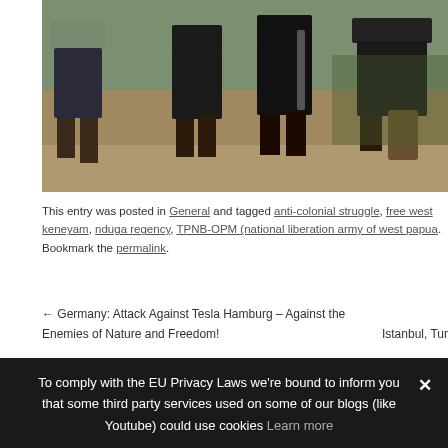[Figure (photo): Three or four figures walking on gravel/dirt ground, some appearing to carry weapons, photographed from behind at waist-down level.]
This entry was posted in General and tagged anti-colonial struggle, free west keneyam, nduga regency, TPNB-OPM (national liberation army of west papua. Bookmark the permalink.
← Germany: Attack Against Tesla Hamburg – Against the Enemies of Nature and Freedom!     Istanbul, Tur
To comply with the EU Privacy Laws we're bound to inform you that some third party services used on some of our blogs (like Youtube) could use cookies Learn more